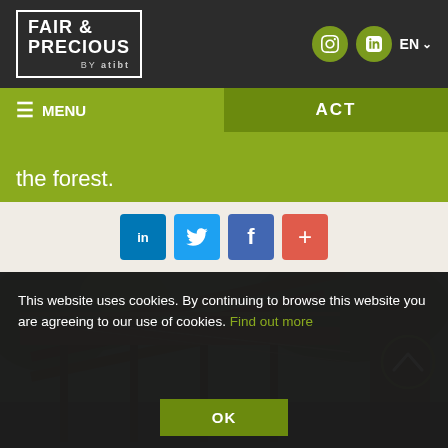FAIR & PRECIOUS BY atibt
EN
≡ MENU
ACT
the forest.
[Figure (screenshot): Social share buttons: LinkedIn (blue), Twitter (light blue), Facebook (dark blue), Plus/more (red)]
[Figure (photo): Wooden elevated walkway/staircase structure in a tropical forest, with a large tree trunk visible on the right side. The structure appears to be a forest canopy access point.]
This website uses cookies. By continuing to browse this website you are agreeing to our use of cookies. Find out more
OK